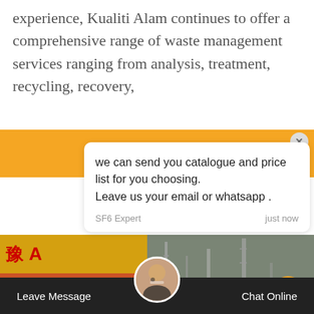experience, Kualiti Alam continues to offer a comprehensive range of waste management services ranging from analysis, treatment, recycling, recovery,
[Figure (screenshot): Chat popup overlay with message: 'we can send you catalogue and price list for you choosing. Leave us your email or whatsapp .' from SF6 Expert, just now. Below is a reply input box with 'Write a reply..' placeholder and thumbs-up/attachment icons. A green chat icon with badge '1' is visible on the right. Orange banner in background. Bottom bar with 'Leave Message', support avatar, and 'Chat Online'.]